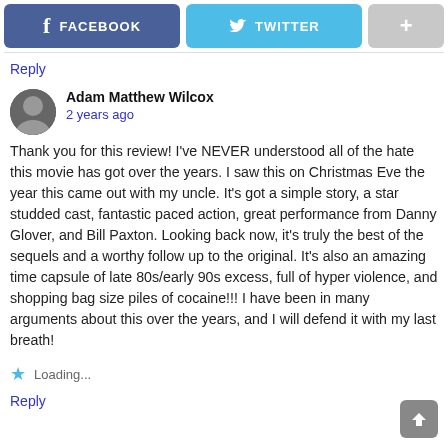[Figure (screenshot): Social share buttons bar with Facebook (blue-purple), Twitter (light blue), and a grey plus button]
Reply
Adam Matthew Wilcox
2 years ago
Thank you for this review! I've NEVER understood all of the hate this movie has got over the years. I saw this on Christmas Eve the year this came out with my uncle. It's got a simple story, a star studded cast, fantastic paced action, great performance from Danny Glover, and Bill Paxton. Looking back now, it's truly the best of the sequels and a worthy follow up to the original. It's also an amazing time capsule of late 80s/early 90s excess, full of hyper violence, and shopping bag size piles of cocaine!!! I have been in many arguments about this over the years, and I will defend it with my last breath!
★ Loading...
Reply